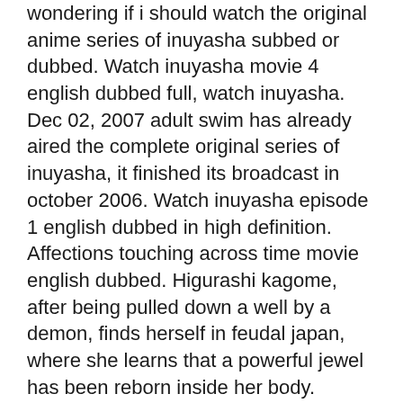wondering if i should watch the original anime series of inuyasha subbed or dubbed. Watch inuyasha movie 4 english dubbed full, watch inuyasha. Dec 02, 2007 adult swim has already aired the complete original series of inuyasha, it finished its broadcast in october 2006. Watch inuyasha episode 1 english dubbed in high definition. Affections touching across time movie english dubbed. Higurashi kagome, after being pulled down a well by a demon, finds herself in feudal japan, where she learns that a powerful jewel has been reborn inside her body. Inuyasha world contains character profiles, image gallery, media downloads, episode summaries, screen captures, merchandise and artists info. This video contains content from viz media, who has blocked it in your country on grounds. Kissanime and wao anime tv those sites may have the movies, and many other, streaming for your enjoyment.